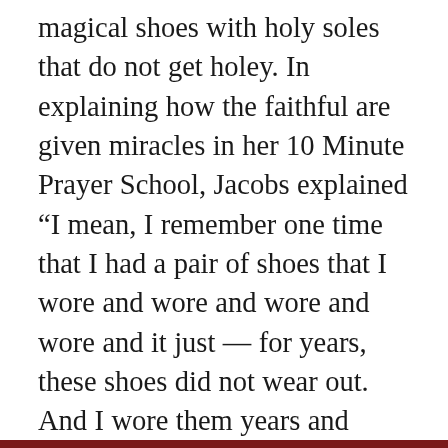magical shoes with holy soles that do not get holey. In explaining how the faithful are given miracles in her 10 Minute Prayer School, Jacobs explained “I mean, I remember one time that I had a pair of shoes that I wore and wore and wore and wore and it just — for years, these shoes did not wear out. And I wore them years and years and years.” She also describes how in having friends of her kids over, God would multiple